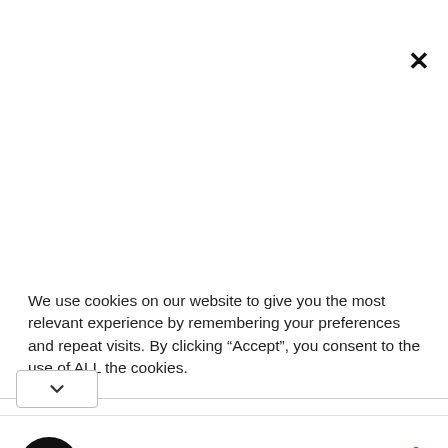[Figure (screenshot): Close (X) button in upper right corner of a modal or overlay]
We use cookies on our website to give you the most relevant experience by remembering your preferences and repeat visits. By clicking “Accept”, you consent to the use of ALL the cookies.
[Figure (screenshot): Ad banner: Shop Back To School Deals - Leesburg Premium Outlets with logo and navigation arrow icon]